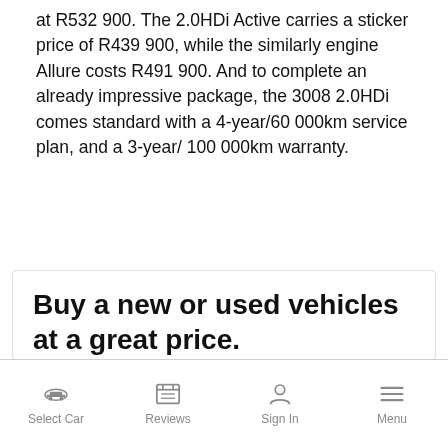at R532 900. The 2.0HDi Active carries a sticker price of R439 900, while the similarly engine Allure costs R491 900. And to complete an already impressive package, the 3008 2.0HDi comes standard with a 4-year/60 000km service plan, and a 3-year/ 100 000km warranty.
Buy a new or used vehicles at a great price.
We put you back in control, make a single
Select Car | Reviews | Sign In | Menu